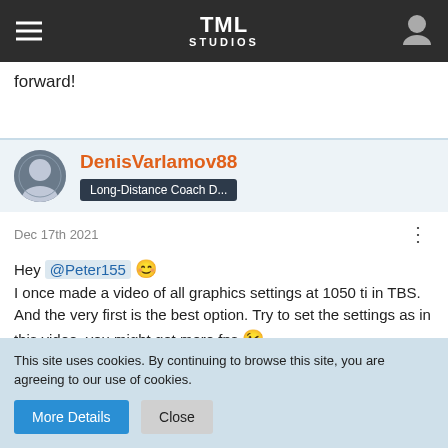TML STUDIOS
forward!
DenisVarlamov88
Long-Distance Coach D...
Dec 17th 2021
Hey @Peter155 😊 I once made a video of all graphics settings at 1050 ti in TBS. And the very first is the best option. Try to set the settings as in this video, you might get more fps 😉
This site uses cookies. By continuing to browse this site, you are agreeing to our use of cookies. More Details  Close